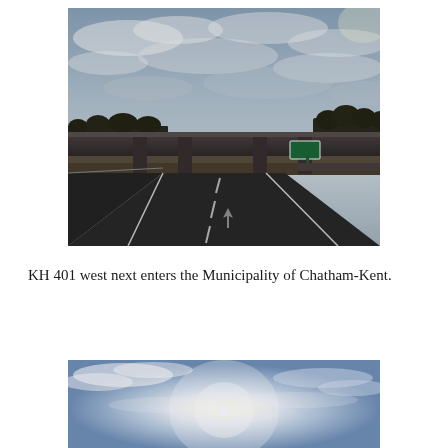[Figure (photo): Highway 401 west view from car, showing overpass bridge crossing the road, cloudy sky overhead, trees on right side, green highway sign visible under bridge, open highway stretching ahead]
KH 401 west next enters the Municipality of Chatham-Kent.
[Figure (photo): View from highway looking up toward bright sun in blue sky with wispy clouds, sun creating strong glare/halo effect]